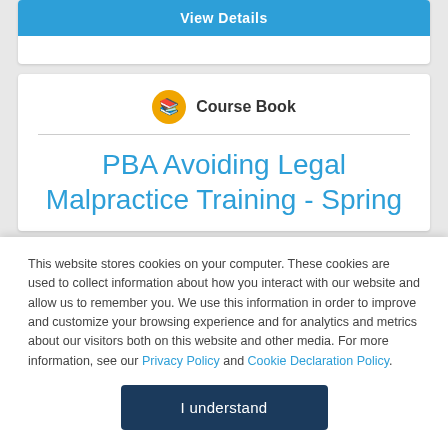[Figure (screenshot): Blue 'View Details' button at top of a white card]
[Figure (illustration): Orange circular icon with an open book/course book symbol]
Course Book
PBA Avoiding Legal Malpractice Training - Spring
This website stores cookies on your computer. These cookies are used to collect information about how you interact with our website and allow us to remember you. We use this information in order to improve and customize your browsing experience and for analytics and metrics about our visitors both on this website and other media. For more information, see our Privacy Policy and Cookie Declaration Policy.
I understand